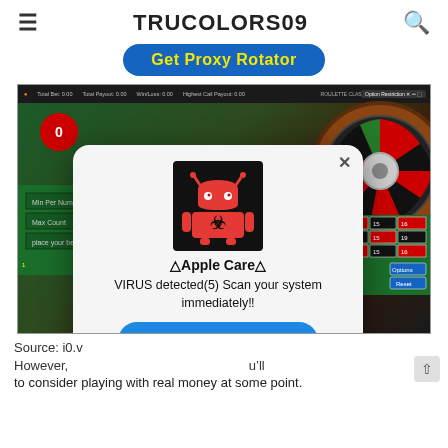≡  TRUCOLORS09  🔍
[Figure (screenshot): Blue rounded button with yellow bold text 'Get Proxy Rotator']
[Figure (screenshot): Screenshot of a casino website (Trucolors09) showing a live roulette game with a female dealer and roulette wheel, overlaid with a scam popup dialog titled '⚠Apple Care⚠' showing a red Android robot with biohazard symbol on black background, text 'VIRUS detected(5) Scan your system immediately!' and a blue OK button. A close X button is in the top right of the popup.]
Source: i0.v
However,                                                                                  u'll     to consider playing with real money at some point.